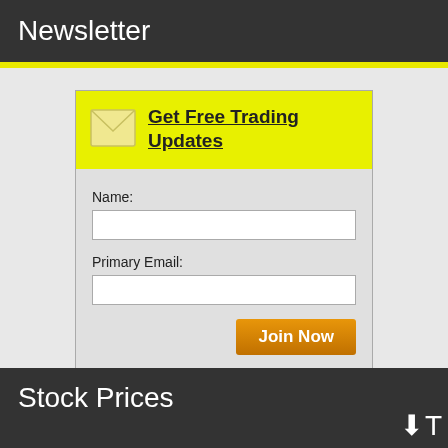Newsletter
[Figure (screenshot): Newsletter signup form with yellow header containing envelope icon and 'Get Free Trading Updates' title, with Name and Primary Email fields and a Join Now button]
Stock Prices